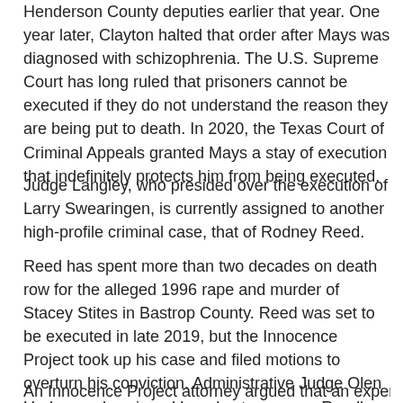Henderson County deputies earlier that year. One year later, Clayton halted that order after Mays was diagnosed with schizophrenia. The U.S. Supreme Court has long ruled that prisoners cannot be executed if they do not understand the reason they are being put to death. In 2020, the Texas Court of Criminal Appeals granted Mays a stay of execution that indefinitely protects him from being executed.
Judge Langley, who presided over the execution of Larry Swearingen, is currently assigned to another high-profile criminal case, that of Rodney Reed.
Reed has spent more than two decades on death row for the alleged 1996 rape and murder of Stacey Stites in Bastrop County. Reed was set to be executed in late 2019, but the Innocence Project took up his case and filed motions to overturn his conviction. Administrative Judge Olen Underwood assigned Langley to oversee Reed's claim of innocence.
An Innocence Project attorney argued that an expert in his...